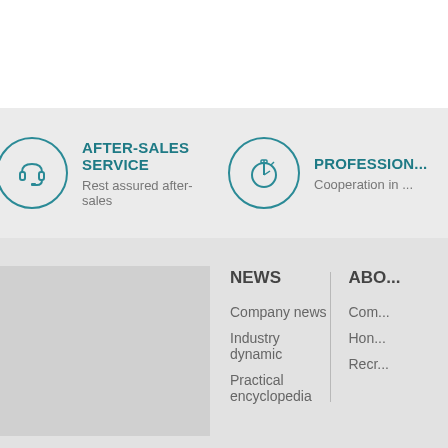[Figure (infographic): After-sales service icon: circle with a headset/customer service symbol in teal]
AFTER-SALES SERVICE
Rest assured after-sales
[Figure (infographic): Professional service icon: circle with a stopwatch/timer symbol in teal]
PROFESSION...
Cooperation in ...
NEWS
Company news
Industry dynamic
Practical encyclopedia
ABO...
Com...
Hon...
Recr...